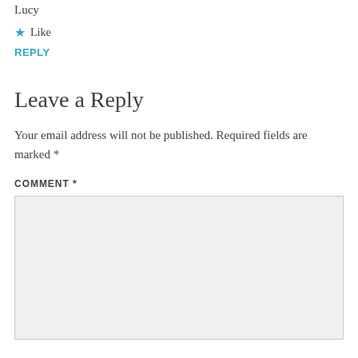Lucy
★ Like
REPLY
Leave a Reply
Your email address will not be published. Required fields are marked *
COMMENT *
[Figure (other): Empty comment text area input box with light gray background]